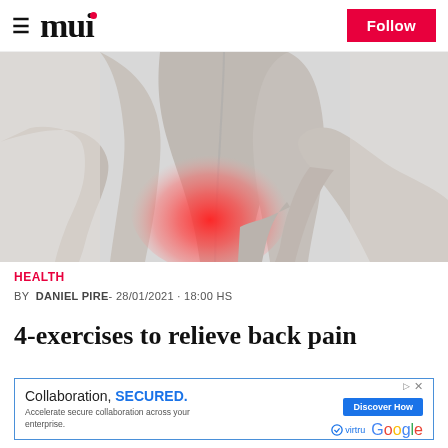mui — Follow
[Figure (photo): Black and white photo of a person's bare back, with a red glowing highlight on the lower back/spine area indicating pain, with hand reaching to touch the painful area.]
HEALTH
BY DANIEL PIRE- 28/01/2021 · 18:00 HS
4-exercises to relieve back pain
[Figure (other): Advertisement banner: Collaboration, SECURED. Accelerate secure collaboration across your enterprise. Discover How. Virtru Google.]